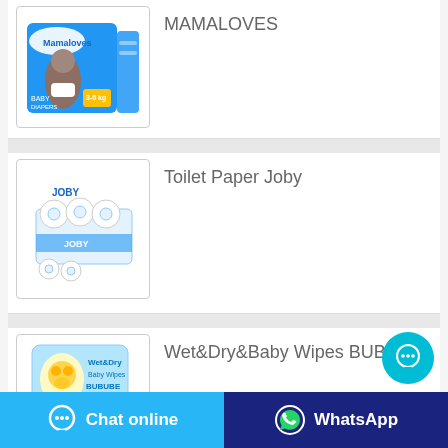[Figure (photo): Mamaloves baby diapers product package - blue box with baby image]
MAMALOVES
[Figure (photo): Toilet Paper Joby - white and blue multi-pack toilet paper rolls]
Toilet Paper Joby
[Figure (photo): Wet&Dry&Baby Wipes BUBUBE - blue and yellow package]
Wet&Dry&Baby Wipes BUBUBE
Chat online   WhatsApp